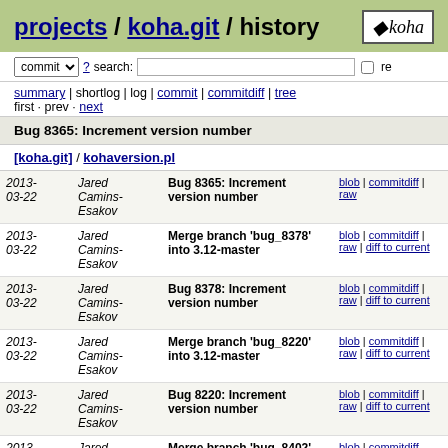projects / koha.git / history
commit ? search: re
summary | shortlog | log | commit | commitdiff | tree
first · prev · next
Bug 8365: Increment version number
[koha.git] / kohaversion.pl
| Date | Author | Commit | Links |
| --- | --- | --- | --- |
| 2013-03-22 | Jared Camins-Esakov | Bug 8365: Increment version number | blob | commitdiff | raw |
| 2013-03-22 | Jared Camins-Esakov | Merge branch 'bug_8378' into 3.12-master | blob | commitdiff | raw | diff to current |
| 2013-03-22 | Jared Camins-Esakov | Bug 8378: Increment version number | blob | commitdiff | raw | diff to current |
| 2013-03-22 | Jared Camins-Esakov | Merge branch 'bug_8220' into 3.12-master | blob | commitdiff | raw | diff to current |
| 2013-03-22 | Jared Camins-Esakov | Bug 8220: Increment version number | blob | commitdiff | raw | diff to current |
| 2013- | Jared | Merge branch 'bug_8402'... | blob | commitdiff |